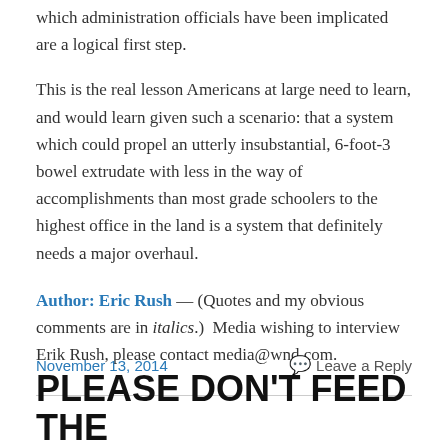which administration officials have been implicated are a logical first step.
This is the real lesson Americans at large need to learn, and would learn given such a scenario: that a system which could propel an utterly insubstantial, 6-foot-3 bowel extrudate with less in the way of accomplishments than most grade schoolers to the highest office in the land is a system that definitely needs a major overhaul.
Author: Eric Rush — (Quotes and my obvious comments are in italics.)  Media wishing to interview Erik Rush, please contact media@wnd.com.
November 13, 2014
Leave a Reply
PLEASE DON'T FEED THE